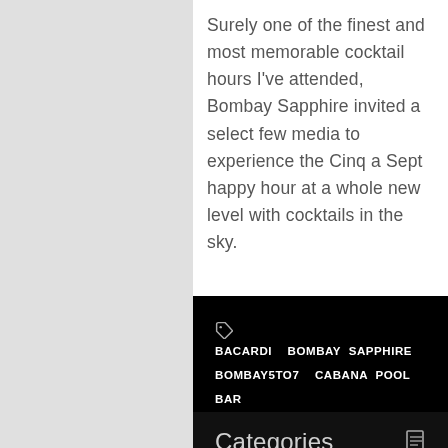Surely one of the finest and most memorable cocktail hours I've attended, Bombay Sapphire invited a select few media to experience the Cinq a Sept happy hour at a whole new level with cocktails in the sky.
BACARDI  BOMBAY SAPPHIRE  BOMBAY5TO7  CABANA POOL BAR  GIN  HELICOPTER  POLSON PIER  SOLARIUM  SOUND ACADEMY
Categories